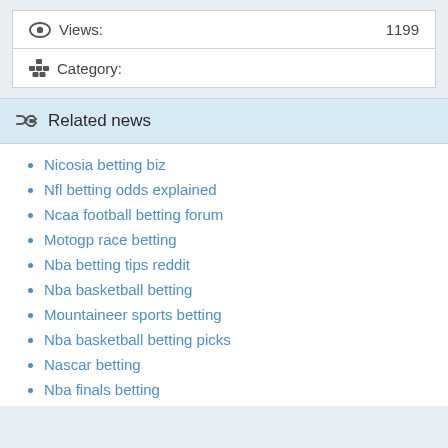Views: 1199
Category:
Related news
Nicosia betting biz
Nfl betting odds explained
Ncaa football betting forum
Motogp race betting
Nba betting tips reddit
Nba basketball betting
Mountaineer sports betting
Nba basketball betting picks
Nascar betting
Nba finals betting